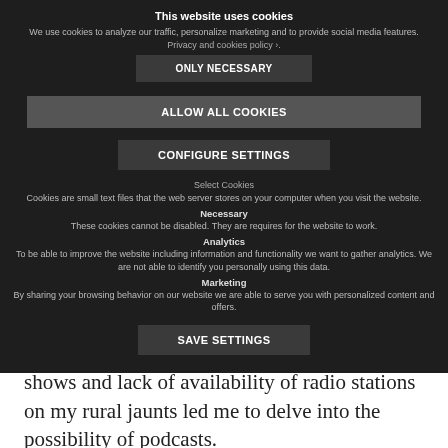This website uses cookies
We use cookies to analyze our traffic, personalize marketing and to provide social media features. Privacy and cookies policy ›.
ONLY NECESSARY
ALLOW ALL COOKIES
CONFIGURE SETTINGS
Select Cookies
Cookies are small text files that the web server stores on your computer when you visit the website.
Necessary
These cookies cannot be disabled. They are requires for the website to work.
Analytics
To be able to improve the website including information and functionality we want to gather analytics. We are not able to identify you personally using this data.
Marketing
By sharing your browsing behavior on our website we are able to serve you with personalized content and offers.
SAVE SETTINGS
At some point the lack of selection of radio shows and lack of availability of radio stations on my rural jaunts led me to delve into the possibility of podcasts.